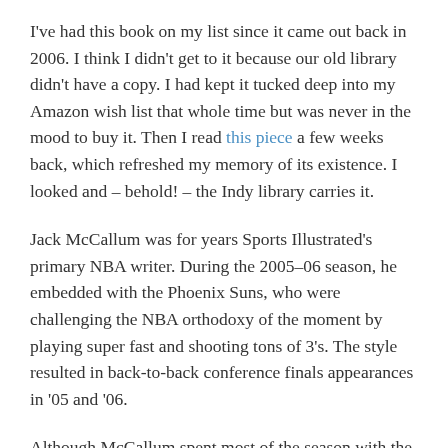I've had this book on my list since it came out back in 2006. I think I didn't get to it because our old library didn't have a copy. I had kept it tucked deep into my Amazon wish list that whole time but was never in the mood to buy it. Then I read this piece a few weeks back, which refreshed my memory of its existence. I looked and – behold! – the Indy library carries it.
Jack McCallum was for years Sports Illustrated's primary NBA writer. During the 2005–06 season, he embedded with the Phoenix Suns, who were challenging the NBA orthodoxy of the moment by playing super fast and shooting tons of 3's. The style resulted in back-to-back conference finals appearances in '05 and '06.
Although McCallum spent most of the season with the Suns, the book focuses on the 40-ish days they were alive in the Western Conference playoffs, ultimately losing the Dallas in six games. He does make little runs